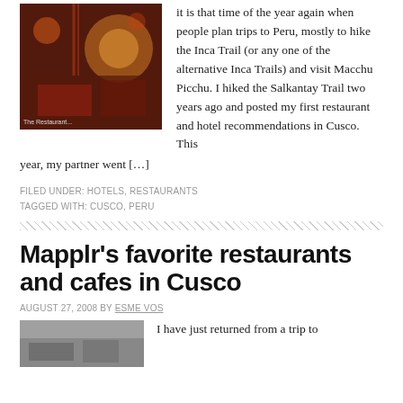[Figure (photo): Interior of a dimly lit restaurant/bar in Cusco with warm reddish lighting and decorative elements]
it is that time of the year again when people plan trips to Peru, mostly to hike the Inca Trail (or any one of the alternative Inca Trails) and visit Macchu Picchu. I hiked the Salkantay Trail two years ago and posted my first restaurant and hotel recommendations in Cusco. This year, my partner went […]
FILED UNDER: HOTELS, RESTAURANTS
TAGGED WITH: CUSCO, PERU
Mapplr's favorite restaurants and cafes in Cusco
AUGUST 27, 2008 BY ESME VOS
[Figure (photo): Partial view of another restaurant photo in Cusco]
I have just returned from a trip to